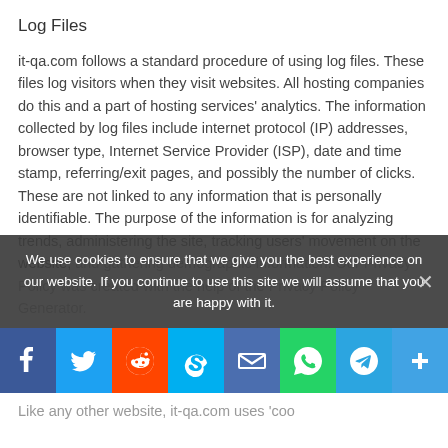Log Files
it-qa.com follows a standard procedure of using log files. These files log visitors when they visit websites. All hosting companies do this and a part of hosting services' analytics. The information collected by log files include internet protocol (IP) addresses, browser type, Internet Service Provider (ISP), date and time stamp, referring/exit pages, and possibly the number of clicks. These are not linked to any information that is personally identifiable. The purpose of the information is for analyzing trends, administering the site, tracking users' movement on the website, and gathering demographic information. Our Privacy Policy was created with the help of the Privacy Policy Generator.
We use cookies to ensure that we give you the best experience on our website. If you continue to use this site we will assume that you are happy with it.
Cookies and Web Beacons
Like any other website, it-qa.com uses 'cookies'.